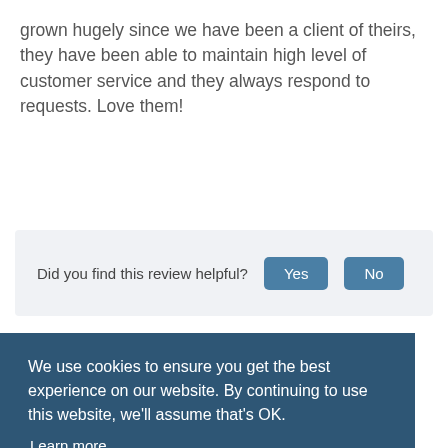grown hugely since we have been a client of theirs, they have been able to maintain high level of customer service and they always respond to requests. Love them!
Did you find this review helpful? Yes No
We use cookies to ensure you get the best experience on our website. By continuing to use this website, we'll assume that's OK. Learn more
OK